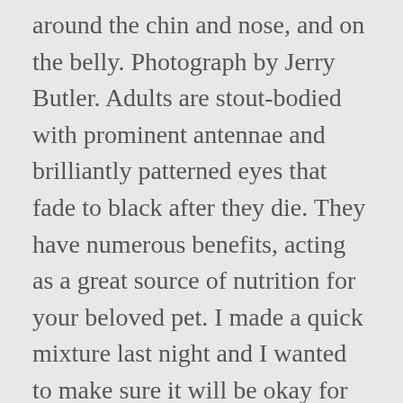around the chin and nose, and on the belly. Photograph by Jerry Butler. Adults are stout-bodied with prominent antennae and brilliantly patterned eyes that fade to black after they die. They have numerous benefits, acting as a great source of nutrition for your beloved pet. I made a quick mixture last night and I wanted to make sure it will be okay for these guys. Adult black soldier flies are now distributed throughout the world and despite having a wasp-like appearance, they lack any appendage for biting or stinging. When I feed the chickens BSFL they are so focused on the getting as many as they can they don't pay any attention to who they are running over. For example, if you board at a commercial stable, ordering Fly